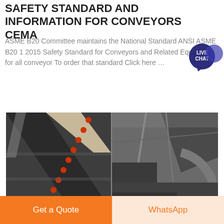SAFETY STANDARD AND INFORMATION FOR CONVEYORS CEMA
ASME B20 Committee maintains the National Standard ANSI ASME B20 1 2015 Safety Standard for Conveyors and Related Equipment for all conveyor To order that standard Click here …
[Figure (photo): Industrial conveyor belt system showing belt conveyors and related mechanical equipment in an industrial facility, split into two panels.]
Get a Quote
WhatsApp